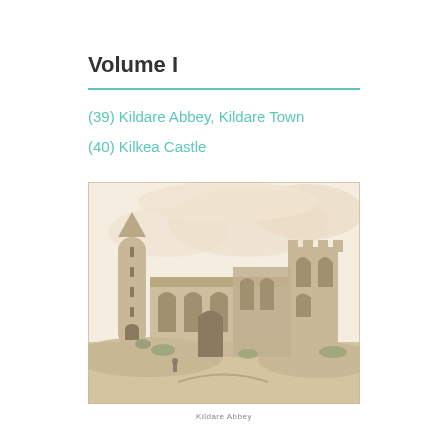Volume I
(39) Kildare Abbey, Kildare Town
(40) Kilkea Castle
[Figure (illustration): Historical engraving/illustration of Kildare Abbey showing ruins of a large stone church with Gothic arched windows and doorways, and a tall round tower to the left, set against a cloudy sky with foreground landscape]
Kildare Abbey